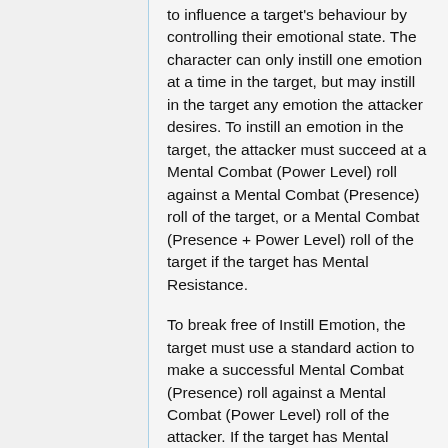to influence a target's behaviour by controlling their emotional state. The character can only instill one emotion at a time in the target, but may instill in the target any emotion the attacker desires. To instill an emotion in the target, the attacker must succeed at a Mental Combat (Power Level) roll against a Mental Combat (Presence) roll of the target, or a Mental Combat (Presence + Power Level) roll of the target if the target has Mental Resistance.
To break free of Instill Emotion, the target must use a standard action to make a successful Mental Combat (Presence) roll against a Mental Combat (Power Level) roll of the attacker. If the target has Mental Resistance, they add their Power Level to their roll. If the target succeeds at this roll, they break